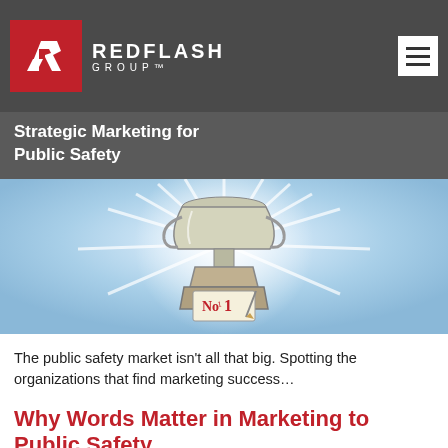REDFLASH GROUP™ — Strategic Marketing for Public Safety
[Figure (illustration): Illustrated trophy with 'No 1' plaque on its base, glowing with radiant white light against a blue sky background]
The public safety market isn't all that big. Spotting the organizations that find marketing success...
Why Words Matter in Marketing to Public Safety